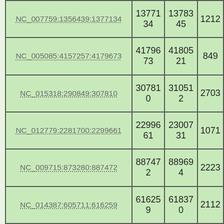| NC_007759:1356439:1377134 | 1377134 | 1378345 | 1212 |
| NC_005085:4157257:4179673 | 4179673 | 4180521 | 849 |
| NC_015318:290849:307810 | 307810 | 310512 | 2703 |
| NC_012779:2281700:2299661 | 2299661 | 2300731 | 1071 |
| NC_009715:873280:887472 | 887472 | 889694 | 2223 |
| NC_014387:605711:616259 | 616259 | 618370 | 2112 |